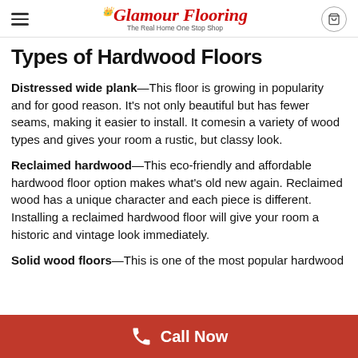Glamour Flooring — The Real Home One Stop Shop
Types of Hardwood Floors
Distressed wide plank—This floor is growing in popularity and for good reason. It's not only beautiful but has fewer seams, making it easier to install. It comesin a variety of wood types and gives your room a rustic, but classy look.
Reclaimed hardwood—This eco-friendly and affordable hardwood floor option makes what's old new again. Reclaimed wood has a unique character and each piece is different. Installing a reclaimed hardwood floor will give your room a historic and vintage look immediately.
Solid wood floors—This is one of the most popular hardwood